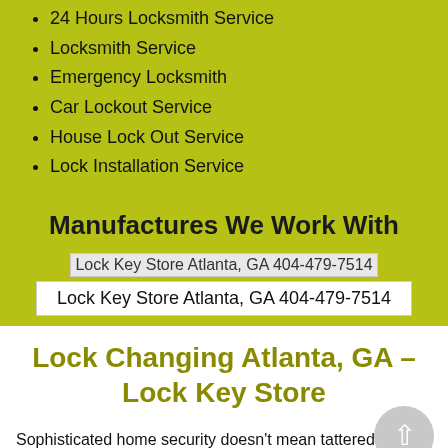24 Hours Locksmith Service
Locksmith Service
Emergency Locksmith
Car Lockout Service
House Lock Out Service
Lock Installation Service
Manufactures We Work With
[Figure (photo): Lock Key Store Atlanta, GA 404-479-7514 image placeholder with alt text]
Lock Key Store Atlanta, GA 404-479-7514
Lock Changing Atlanta, GA – Lock Key Store
Sophisticated home security doesn't mean tattered locks or lost keys. It means a tight security unit that is